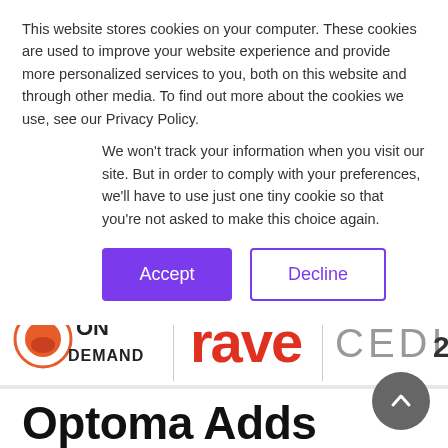This website stores cookies on your computer. These cookies are used to improve your website experience and provide more personalized services to you, both on this website and through other media. To find out more about the cookies we use, see our Privacy Policy.
We won't track your information when you visit our site. But in order to comply with your preferences, we'll have to use just one tiny cookie so that you're not asked to make this choice again.
Accept
Decline
[Figure (logo): ON DEMAND logo with circular orange/red icon, rave logo in red, CEDIA 2018 logo]
Optoma Adds 4K Voice-